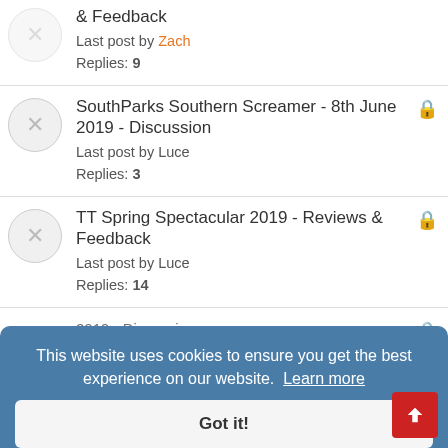& Feedback
Last post by Zach
Replies: 9
SouthParks Southern Screamer - 8th June 2019 - Discussion
Last post by Luce
Replies: 3
TT Spring Spectacular 2019 - Reviews & Feedback
Last post by Luce
Replies: 14
2019 - Discussion
Last post by Liam.W
Replies: 15
Events Calendar 2019
Last post by Justin
This website uses cookies to ensure you get the best experience on our website. Learn more
Got it!